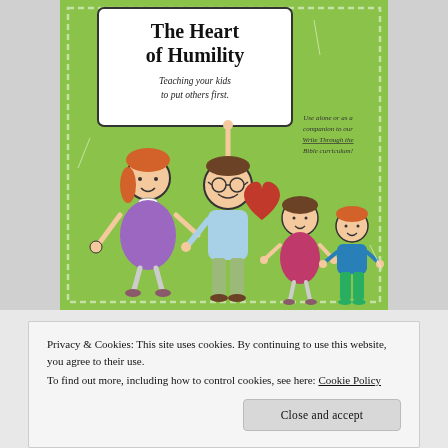[Figure (illustration): Book cover illustration for 'The Heart of Humility: Teaching your kids to put others first.' Shows cartoon stick-figure family (mother, father holding sign, two children) on a green background. Side text reads 'Use alone or as a companion to our Write Through the Bible curriculum!']
Privacy & Cookies: This site uses cookies. By continuing to use this website, you agree to their use. To find out more, including how to control cookies, see here: Cookie Policy
Close and accept